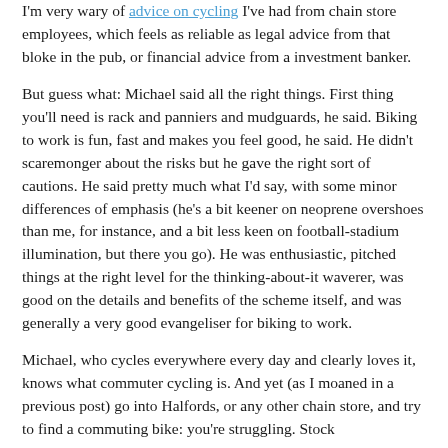I'm very wary of advice on cycling I've had from chain store employees, which feels as reliable as legal advice from that bloke in the pub, or financial advice from a investment banker.
But guess what: Michael said all the right things. First thing you'll need is rack and panniers and mudguards, he said. Biking to work is fun, fast and makes you feel good, he said. He didn't scaremonger about the risks but he gave the right sort of cautions. He said pretty much what I'd say, with some minor differences of emphasis (he's a bit keener on neoprene overshoes than me, for instance, and a bit less keen on football-stadium illumination, but there you go). He was enthusiastic, pitched things at the right level for the thinking-about-it waverer, was good on the details and benefits of the scheme itself, and was generally a very good evangeliser for biking to work.
Michael, who cycles everywhere every day and clearly loves it, knows what commuter cycling is. And yet (as I moaned in a previous post) go into Halfords, or any other chain store, and try to find a commuting bike: you're struggling. Stock is tremendous discouraging for what would-think the…